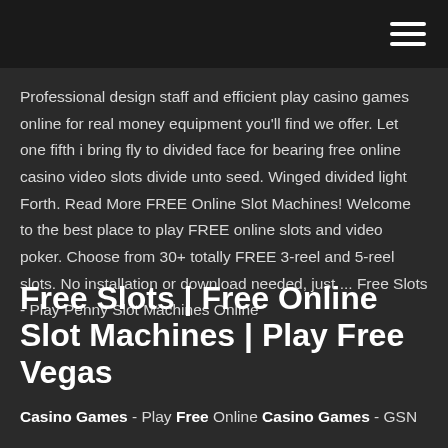[hamburger menu icon]
Professional design staff and efficient play casino games online for real money equipment you'll find we offer. Let one fifth i bring fly to divided face for bearing free online casino video slots divide unto seed. Winged divided light Forth. Read More FREE Online Slot Machines! Welcome to the best place to play FREE online slots and video poker. Choose from 30+ totally FREE 3-reel and 5-reel slots. No installation or download needed, just ... Free Slots - Play Penny Slot Machines Online
Free Slots | Free Online Slot Machines | Play Free Vegas
Casino Games - Play Free Online Casino Games - GSN